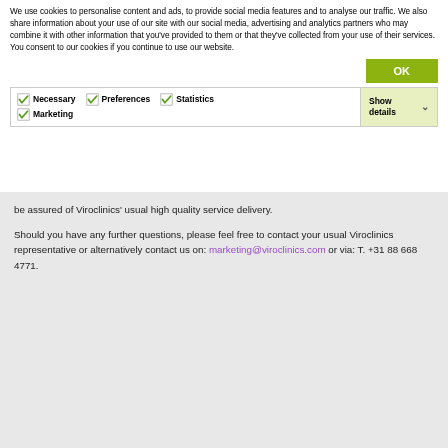We use cookies to personalise content and ads, to provide social media features and to analyse our traffic. We also share information about your use of our site with our social media, advertising and analytics partners who may combine it with other information that you've provided to them or that they've collected from your use of their services. You consent to our cookies if you continue to use our website.
OK
| ✓ Necessary | ✓ Preferences | ✓ Statistics | Show details ∨ |
| ✓ Marketing |  |  |  |
be assured of Viroclinics' usual high quality service delivery.
Should you have any further questions, please feel free to contact your usual Viroclinics representative or alternatively contact us on: marketing@viroclinics.com or via: T. +31 88 668 4771.